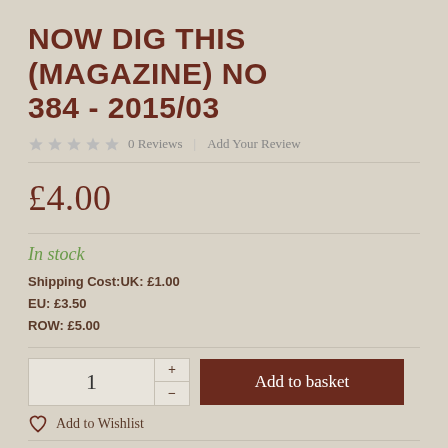NOW DIG THIS (MAGAZINE) NO 384 - 2015/03
0 Reviews | Add Your Review
£4.00
In stock
Shipping Cost: UK: £1.00
EU: £3.50
ROW: £5.00
1  Add to basket
Add to Wishlist